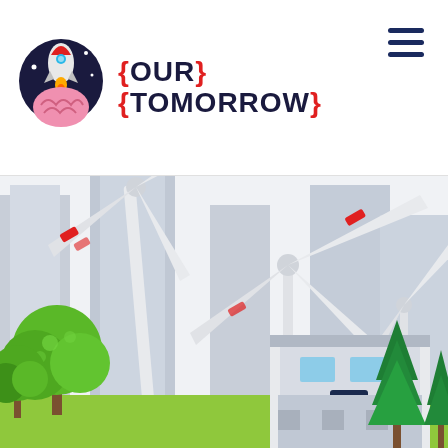[Figure (logo): Our Tomorrow logo with rocket/brain mascot and red/navy text with curly braces]
[Figure (illustration): Flat-style illustration of a green city with wind turbines, skyscrapers, trees, and a modern building. Wind turbine blades with red warning stripes are prominent against grey building silhouettes. Green deciduous and conifer trees in the foreground.]